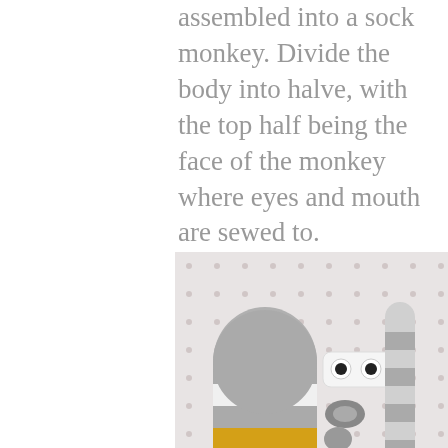assembled into a sock monkey. Divide the body into halve, with the top half being the face of the monkey where eyes and mouth are sewed to.
[Figure (photo): Disassembled sock monkey parts laid out on a polka-dot background: stuffed striped gray and white body with yellow band, small gray face piece with plastic googly eyes, small limb pieces, all arranged before assembly. A 'Tutorial © Craft Pa...' watermark is visible. Like button with 844 count and share button overlay on the right. 'What's Next' box showing Sock Elephant Stuffed Ani...]
LORD OF THE RINGS   [ad image]   BOXLUNCH SHOP NOW   [X button]   [icon]